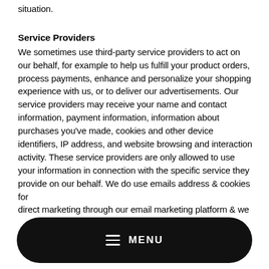situation.
Service Providers
We sometimes use third-party service providers to act on our behalf, for example to help us fulfill your product orders, process payments, enhance and personalize your shopping experience with us, or to deliver our advertisements. Our service providers may receive your name and contact information, payment information, information about purchases you've made, cookies and other device identifiers, IP address, and website browsing and interaction activity. These service providers are only allowed to use your information in connection with the specific service they provide on our behalf. We do use emails address & cookies for direct marketing through our email marketing platform & we
MENU